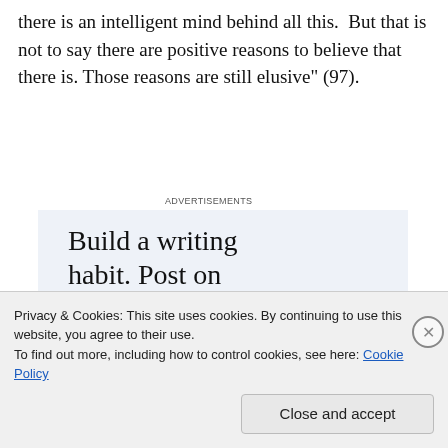there is an intelligent mind behind all this.  But that is not to say there are positive reasons to believe that there is. Those reasons are still elusive" (97).
[Figure (infographic): Advertisement banner with light blue background. Large serif text reads 'Build a writing habit. Post on the go.' with a blue 'GET THE APP' call-to-action link and the WordPress circular logo icon at the bottom right.]
Privacy & Cookies: This site uses cookies. By continuing to use this website, you agree to their use.
To find out more, including how to control cookies, see here: Cookie Policy